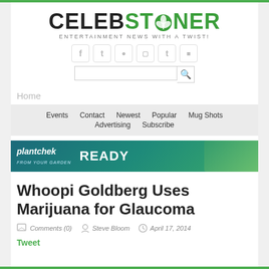CELEBSTONER — ENTERTAINMENT NEWS WITH A TWIST!
[Figure (logo): CelebStoner logo with cannabis leaf replacing the O in STONER, tagline: ENTERTAINMENT NEWS WITH A TWIST!]
[Figure (screenshot): Social media icons: Facebook, Twitter, Pinterest, Instagram, Tumblr, RSS]
[Figure (screenshot): Search bar with magnifying glass icon]
Home
Events   Contact   Newest   Popular   Mug Shots   Advertising   Subscribe
[Figure (infographic): Plantchek advertisement banner: 'plantchek READY']
Whoopi Goldberg Uses Marijuana for Glaucoma
Comments (0)   Steve Bloom   April 17, 2014
Tweet